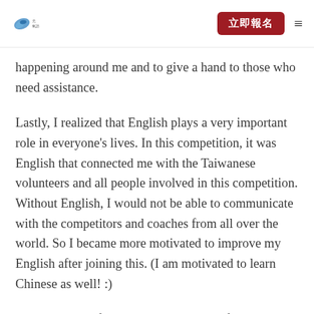立即報名
happening around me and to give a hand to those who need assistance.
Lastly, I realized that English plays a very important role in everyone's lives. In this competition, it was English that connected me with the Taiwanese volunteers and all people involved in this competition. Without English, I would not be able to communicate with the competitors and coaches from all over the world. So I became more motivated to improve my English after joining this. (I am motivated to learn Chinese as well! :)
I am very thankful to be chosen as one of the 6 volunteers from Japan. I couldn't have known